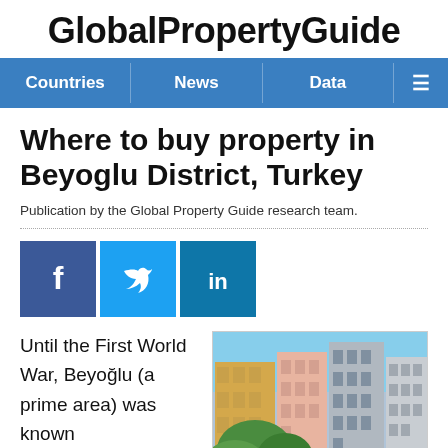GlobalPropertyGuide
Countries | News | Data
Where to buy property in Beyoglu District, Turkey
Publication by the Global Property Guide research team.
[Figure (infographic): Social media icons: Facebook, Twitter, LinkedIn]
Until the First World War, Beyoğlu (a prime area) was known
[Figure (photo): Photo of colourful apartment buildings in Beyoglu district, Istanbul, Turkey, with trees in foreground]